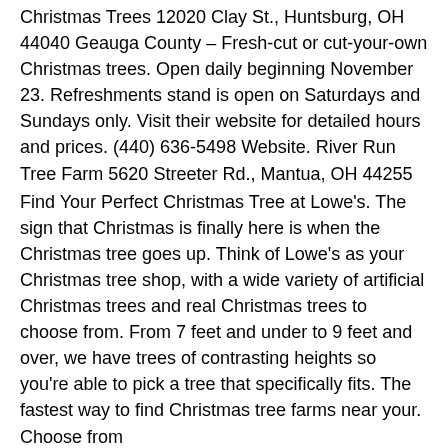Christmas Trees 12020 Clay St., Huntsburg, OH 44040 Geauga County – Fresh-cut or cut-your-own Christmas trees. Open daily beginning November 23. Refreshments stand is open on Saturdays and Sundays only. Visit their website for detailed hours and prices. (440) 636-5498 Website. River Run Tree Farm 5620 Streeter Rd., Mantua, OH 44255
Find Your Perfect Christmas Tree at Lowe's. The sign that Christmas is finally here is when the Christmas tree goes up. Think of Lowe's as your Christmas tree shop, with a wide variety of artificial Christmas trees and real Christmas trees to choose from. From 7 feet and under to 9 feet and over, we have trees of contrasting heights so you're able to pick a tree that specifically fits. The fastest way to find Christmas tree farms near your. Choose from